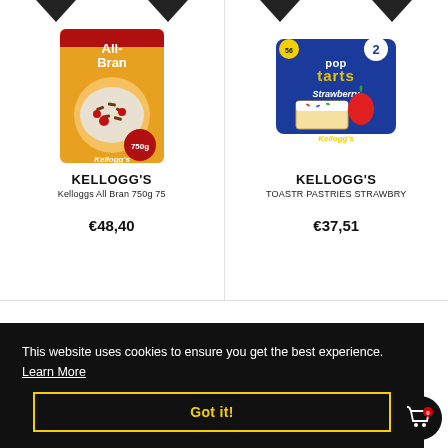[Figure (photo): Kellogg's All-Bran Original 750g cereal box product image]
KELLOGG'S
Kelloggs All Bran 750g 75
€48,40
[Figure (photo): Kellogg's Pop-Tarts Strawberry 2-pack product image]
KELLOGG'S
TOASTR PASTRIES STRAWBRY
€37,51
This website uses cookies to ensure you get the best experience.  Learn More
Got it!